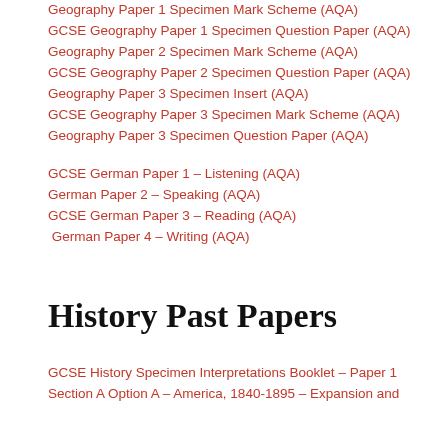Geography Paper 1 Specimen Mark Scheme (AQA)
GCSE Geography Paper 1 Specimen Question Paper (AQA)
Geography Paper 2 Specimen Mark Scheme (AQA)
GCSE Geography Paper 2 Specimen Question Paper (AQA)
Geography Paper 3 Specimen Insert (AQA)
GCSE Geography Paper 3 Specimen Mark Scheme (AQA)
Geography Paper 3 Specimen Question Paper (AQA)
GCSE German Paper 1 – Listening (AQA)
German Paper 2 – Speaking (AQA)
GCSE German Paper 3 – Reading (AQA)
German Paper 4 – Writing (AQA)
History Past Papers
GCSE History Specimen Interpretations Booklet – Paper 1
Section A Option A – America, 1840-1895 – Expansion and